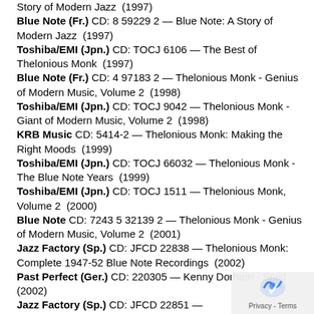Story of Modern Jazz  (1997)
Blue Note (Fr.) CD: 8 59229 2 — Blue Note: A Story of Modern Jazz  (1997)
Toshiba/EMI (Jpn.) CD: TOCJ 6106 — The Best of Thelonious Monk  (1997)
Blue Note (Fr.) CD: 4 97183 2 — Thelonious Monk - Genius of Modern Music, Volume 2  (1998)
Toshiba/EMI (Jpn.) CD: TOCJ 9042 — Thelonious Monk - Giant of Modern Music, Volume 2  (1998)
KRB Music CD: 5414-2 — Thelonious Monk: Making the Right Moods  (1999)
Toshiba/EMI (Jpn.) CD: TOCJ 66032 — Thelonious Monk - The Blue Note Years  (1999)
Toshiba/EMI (Jpn.) CD: TOCJ 1511 — Thelonious Monk, Volume 2  (2000)
Blue Note CD: 7243 5 32139 2 — Thelonious Monk - Genius of Modern Music, Volume 2  (2001)
Jazz Factory (Sp.) CD: JFCD 22838 — Thelonious Monk: Complete 1947-52 Blue Note Recordings  (2002)
Past Perfect (Ger.) CD: 220305 — Kenny Dorham - Solid  (2002)
Jazz Factory (Sp.) CD: JFCD 22851 — ...